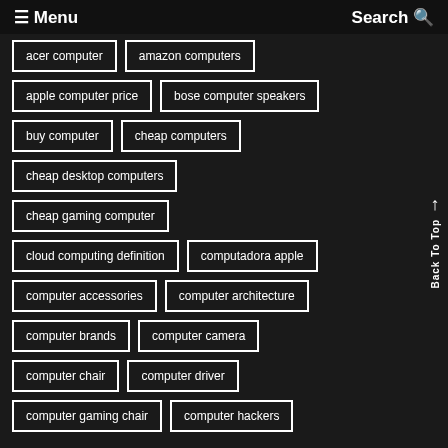≡ Menu   Search 🔍
acer computer
amazon computers
apple computer price
bose computer speakers
buy computer
cheap computers
cheap desktop computers
cheap gaming computer
cloud computing definition
computadora apple
computer accessories
computer architecture
computer brands
computer camera
computer chair
computer driver
computer gaming chair
computer hackers